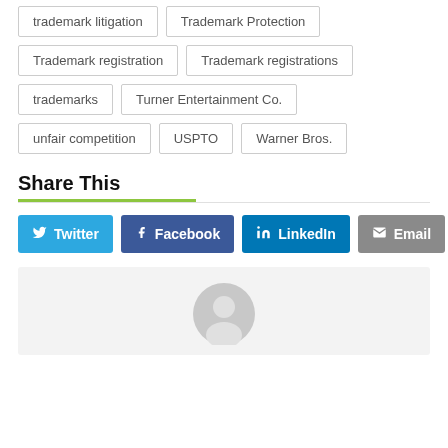trademark litigation
Trademark Protection
Trademark registration
Trademark registrations
trademarks
Turner Entertainment Co.
unfair competition
USPTO
Warner Bros.
Share This
[Figure (infographic): Social share buttons: Twitter, Facebook, LinkedIn, Email]
[Figure (photo): Author avatar placeholder (grey silhouette on light grey background)]